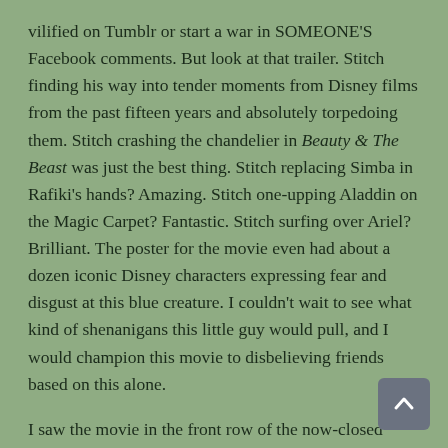vilified on Tumblr or start a war in SOMEONE'S Facebook comments. But look at that trailer. Stitch finding his way into tender moments from Disney films from the past fifteen years and absolutely torpedoing them. Stitch crashing the chandelier in Beauty & The Beast was just the best thing. Stitch replacing Simba in Rafiki's hands? Amazing. Stitch one-upping Aladdin on the Magic Carpet? Fantastic. Stitch surfing over Ariel? Brilliant. The poster for the movie even had about a dozen iconic Disney characters expressing fear and disgust at this blue creature. I couldn't wait to see what kind of shenanigans this little guy would pull, and I would champion this movie to disbelieving friends based on this alone.
I saw the movie in the front row of the now-closed Berkley Cinema in Berkley Heights, NJ, for my friend's birthday. When my friend's mom asked everyone what they thought of the movie, I was the only one who was disappointed. The promotional campaign that made it